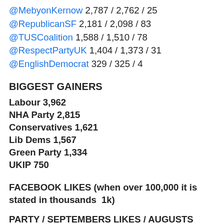@MebyonKernow 2,787 / 2,762 / 25
@RepublicanSF 2,181 / 2,098 / 83
@TUSCoalition 1,588 / 1,510 / 78
@RespectPartyUK 1,404 / 1,373 / 31
@EnglishDemocrat 329 / 325 / 4
BIGGEST GAINERS
Labour 3,962
NHA Party 2,815
Conservatives 1,621
Lib Dems 1,567
Green Party 1,334
UKIP 750
FACEBOOK LIKES (when over 100,000 it is stated in thousands  1k)
PARTY / SEPTEMBERS LIKES / AUGUSTS LIKES / DIFFERENCE +/-
CONSERVATIVES  159K / 160K / -1K